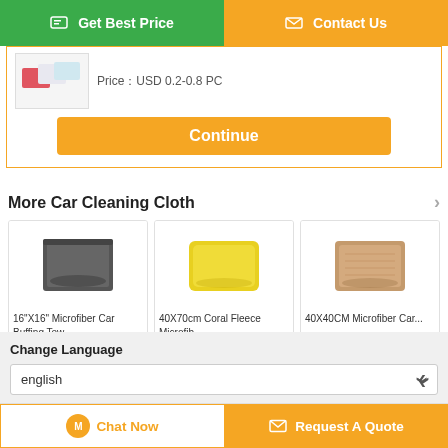[Figure (screenshot): Get Best Price and Contact Us buttons at top, green and orange respectively]
PriceÜUSD 0.2-0.8 PC
[Figure (screenshot): Continue orange button]
More  Car Cleaning Cloth
[Figure (photo): 16"X16" Microfiber Car Buffing Tow... product image (dark gray cloth)]
16"X16" Microfiber Car Buffing Tow...
[Figure (photo): 40X70cm Coral Fleece Microfib... product image (yellow cloth)]
40X70cm Coral Fleece Microfib...
[Figure (photo): 40X40CM Microfiber Car... product image (brown cloth)]
40X40CM Microfiber Car...
Change Language
english
[Figure (screenshot): Chat Now and Request A Quote buttons at bottom]
Chat Now
Request A Quote